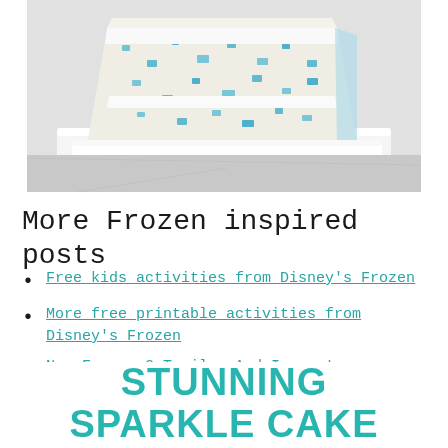[Figure (photo): A slice of blue and white sparkle cake on a white plate, photographed on a marble surface.]
More Frozen inspired posts
Free kids activities from Disney's Frozen
More free printable activities from Disney's Frozen
New Frozen 2 Trailer And Images!
STUNNING SPARKLE CAKE